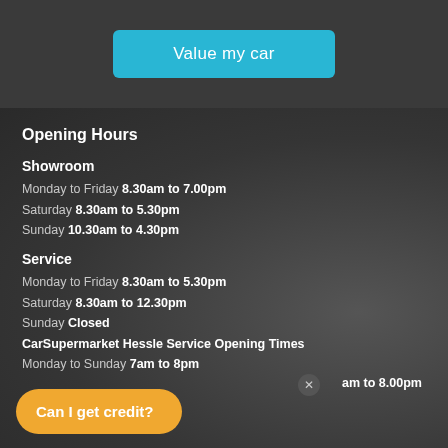[Figure (screenshot): Blue 'Value my car' button on dark grey background]
Opening Hours
Showroom
Monday to Friday 8.30am to 7.00pm
Saturday 8.30am to 5.30pm
Sunday 10.30am to 4.30pm
Service
Monday to Friday 8.30am to 5.30pm
Saturday 8.30am to 12.30pm
Sunday Closed
CarSupermarket Hessle Service Opening Times
Monday to Sunday 7am to 8pm
[Figure (screenshot): Orange chat bubble with text 'Can I get credit?' and a close X button]
am to 8.00pm
Saturday 8.30am to 5.30pm